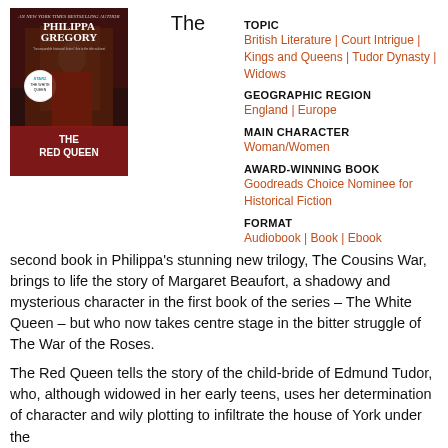[Figure (illustration): Book cover of 'The Red Queen' by Philippa Gregory, showing a woman in historical dress with the Starz 'The White Queen' medallion, dark red and brown tones.]
The
TOPIC
British Literature | Court Intrigue | Kings and Queens | Tudor Dynasty | Widows
GEOGRAPHIC REGION
England | Europe
MAIN CHARACTER
Woman/Women
AWARD-WINNING BOOK
Goodreads Choice Nominee for Historical Fiction
FORMAT
Audiobook | Book | Ebook
second book in Philippa's stunning new trilogy, The Cousins War, brings to life the story of Margaret Beaufort, a shadowy and mysterious character in the first book of the series – The White Queen – but who now takes centre stage in the bitter struggle of The War of the Roses.
The Red Queen tells the story of the child-bride of Edmund Tudor, who, although widowed in her early teens, uses her determination of character and wily plotting to infiltrate the house of York under the